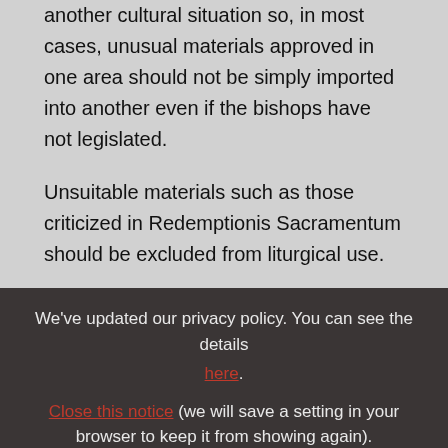These materials may not be appreciated in another cultural situation so, in most cases, unusual materials approved in one area should not be simply imported into another even if the bishops have not legislated.
Unsuitable materials such as those criticized in Redemptionis Sacramentum should be excluded from liturgical use.
This article has been selected from the ZENIT Daily Dispatch
We've updated our privacy policy. You can see the details here. Close this notice (we will save a setting in your browser to keep it from showing again).